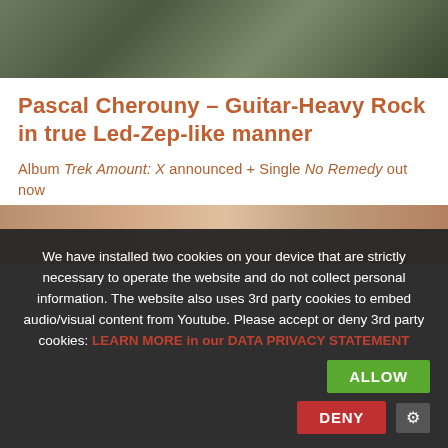[Figure (photo): Top banner photo showing foliage/plants in dark green tones]
Pascal Cherouny – Guitar-Heavy Rock in true Led-Zep-like manner
Album Trek Amount: X announced + Single No Remedy out now
[Figure (photo): Partial photo visible behind cookie consent overlay, showing warm brown/orange tones]
We have installed two cookies on your device that are strictly necessary to operate the website and do not collect personal information. The website also uses 3rd party cookies to embed audio/visual content from Youtube. Please accept or deny 3rd party cookies: LEARN MORE in our DATA PRIVACY STATEMENT
ALLOW
DENY